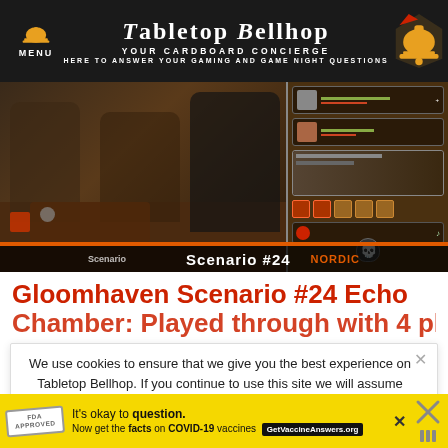MENU | Tabletop Bellhop | YOUR CARDBOARD CONCIERGE | HERE TO ANSWER YOUR GAMING AND GAME NIGHT QUESTIONS
[Figure (screenshot): Screenshot of people playing Gloomhaven board game alongside a game app interface showing Scenario #24]
Gloomhaven Scenario #24 Echo
We use cookies to ensure that we give you the best experience on Tabletop Bellhop. If you continue to use this site we will assume that you are happy with it.
It's okay to question. Now get the facts on COVID-19 vaccines GetVaccineAnswers.org